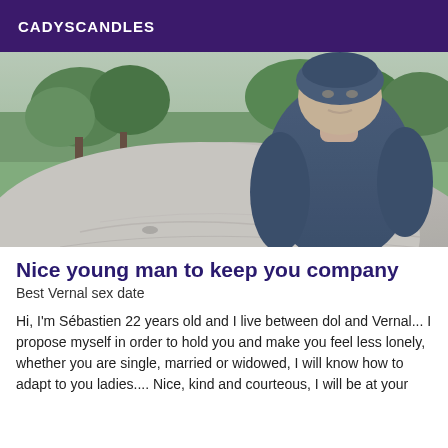CADYSCANDLES
[Figure (photo): A young man in a dark blue hoodie leaning over a large granite rock in a park setting with trees and green grass in the background. The image is slightly blurred/filtered.]
Nice young man to keep you company
Best Vernal sex date
Hi, I'm Sébastien 22 years old and I live between dol and Vernal... I propose myself in order to hold you and make you feel less lonely, whether you are single, married or widowed, I will know how to adapt to you ladies.... Nice, kind and courteous, I will be at your